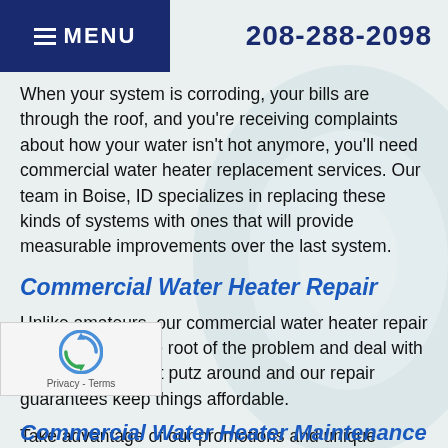MENU | 208-288-2098
When your system is corroding, your bills are through the roof, and you're receiving complaints about how your water isn't hot anymore, you'll need commercial water heater replacement services. Our team in Boise, ID specializes in replacing these kinds of systems with ones that will provide measurable improvements over the last system.
Commercial Water Heater Repair
Unlike amateurs, our commercial water heater repair services target the root of the problem and deal with it quickly. We don't putz around and our repair guarantees keep things affordable.
Take advantage of our promotions and unique service guarantees to maximize your returns.
Commercial Water Heater Maintenance